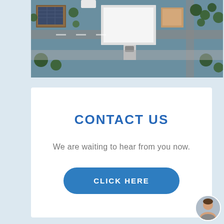[Figure (photo): Aerial view of suburban houses and streets from above, showing rooftops, driveways, and trees]
CONTACT US
We are waiting to hear from you now.
CLICK HERE
[Figure (photo): Small circular avatar photo of a person (agent/contact), showing a woman's face]